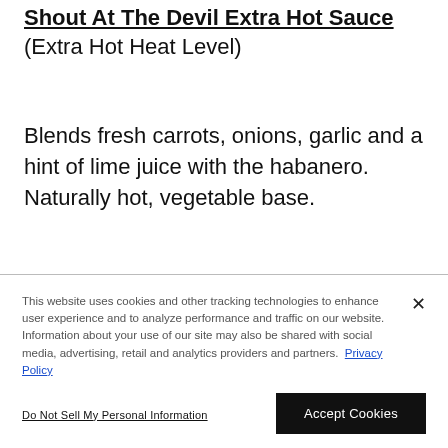Shout At The Devil Extra Hot Sauce (Extra Hot Heat Level)
Blends fresh carrots, onions, garlic and a hint of lime juice with the habanero. Naturally hot, vegetable base.
This website uses cookies and other tracking technologies to enhance user experience and to analyze performance and traffic on our website. Information about your use of our site may also be shared with social media, advertising, retail and analytics providers and partners. Privacy Policy